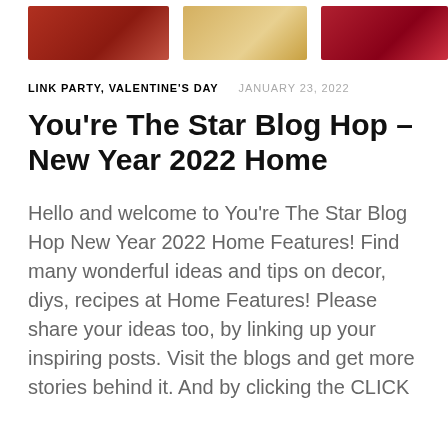[Figure (photo): Three cropped photos in a horizontal strip: left shows food/baked goods on red fabric, middle shows light-colored food items, right shows red Valentine's Day themed items.]
LINK PARTY, VALENTINE'S DAY   JANUARY 23, 2022
You're The Star Blog Hop – New Year 2022 Home
Hello and welcome to You're The Star Blog Hop New Year 2022 Home Features! Find many wonderful ideas and tips on decor, diys, recipes at Home Features! Please share your ideas too, by linking up your inspiring posts. Visit the blogs and get more stories behind it. And by clicking the CLICK